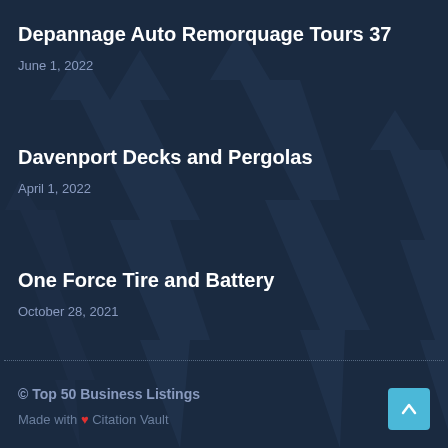Depannage Auto Remorquage Tours 37
June 1, 2022
Davenport Decks and Pergolas
April 1, 2022
One Force Tire and Battery
October 28, 2021
© Top 50 Business Listings
Made with ❤ Citation Vault